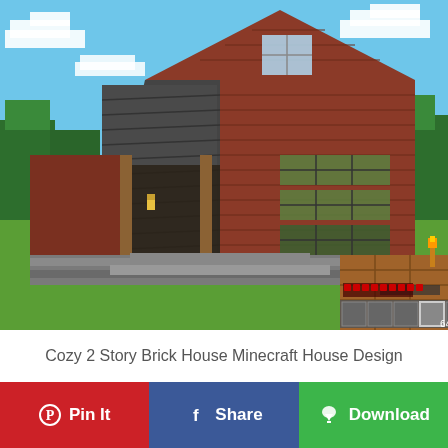[Figure (screenshot): Minecraft screenshot showing a cozy 2-story brick house with a dark cobblestone roof, wooden porch pillars, glass windows, stone foundation, and surrounding trees and grass. Game HUD with health bar and hotbar visible at the bottom. A wooden chest or block is visible in the right foreground.]
Cozy 2 Story Brick House Minecraft House Design
Pin It
Share
Download